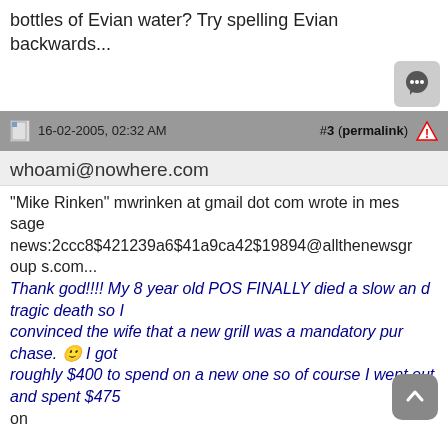bottles of Evian water? Try spelling Evian backwards...
16-02-2005, 02:32 AM  #3 (permalink)
whoami@nowhere.com
"Mike Rinken" mwrinken at gmail dot com wrote in message news:2ccc8$421239a6$41a9ca42$19894@allthenewsgroup s.com...
Thank god!!!! My 8 year old POS FINALLY died a slow and tragic death so I convinced the wife that a new grill was a mandatory purchase. :) I got roughly $400 to spend on a new one so of course I went out and spent $475 on a Genesis Silver B. I got it from a seller on Ebay and it's the one with the solid shelf on the bottom and extra tables on the right and left side.